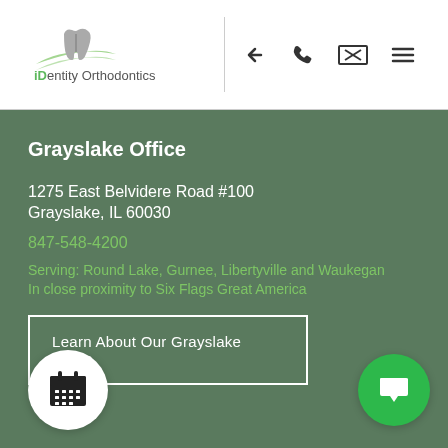iDentity Orthodontics — navigation header with logo, back arrow, phone, email, and menu icons
Grayslake Office
1275 East Belvidere Road #100
Grayslake, IL 60030
847-548-4200
Serving: Round Lake, Gurnee, Libertyville and Waukegan
In close proximity to Six Flags Great America
Learn About Our Grayslake Office